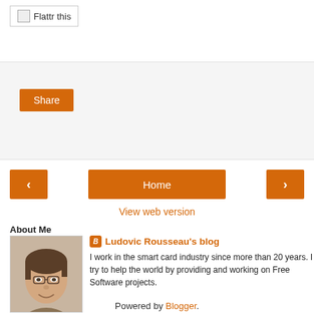[Figure (screenshot): Flattr this button/badge with small image icon and text]
[Figure (screenshot): Social share area with Share button on light gray background]
[Figure (screenshot): Navigation buttons: left arrow, Home center button, right arrow]
View web version
About Me
[Figure (photo): Profile photo of Ludovic Rousseau, a man with glasses and short hair, smiling]
Ludovic Rousseau's blog
I work in the smart card industry since more than 20 years. I try to help the world by providing and working on Free Software projects.
View my complete profile
Powered by Blogger.